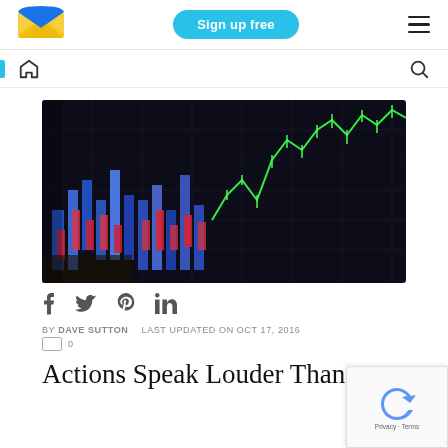Sign up free
[Figure (logo): Sender email marketing logo: blue and yellow envelope icon]
[Figure (photo): Close-up photo of a tablet showing a dark stock market trading chart with blue, red and green candlestick/bar chart lines]
f  Twitter  P  in
BY DAVE SUTTON   LAST UPDATED ON OCT 17, 2016   0
Actions Speak Louder Than